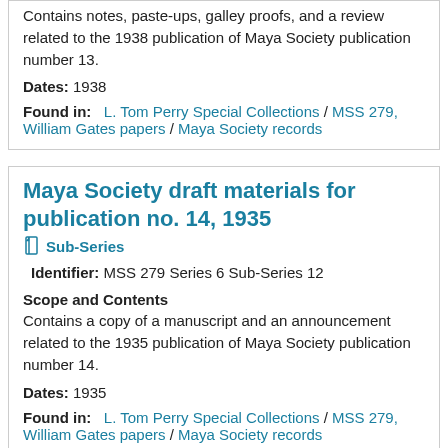Contains notes, paste-ups, galley proofs, and a review related to the 1938 publication of Maya Society publication number 13.
Dates: 1938
Found in: L. Tom Perry Special Collections / MSS 279, William Gates papers / Maya Society records
Maya Society draft materials for publication no. 14, 1935
Sub-Series
Identifier: MSS 279 Series 6 Sub-Series 12
Scope and Contents
Contains a copy of a manuscript and an announcement related to the 1935 publication of Maya Society publication number 14.
Dates: 1935
Found in: L. Tom Perry Special Collections / MSS 279, William Gates papers / Maya Society records